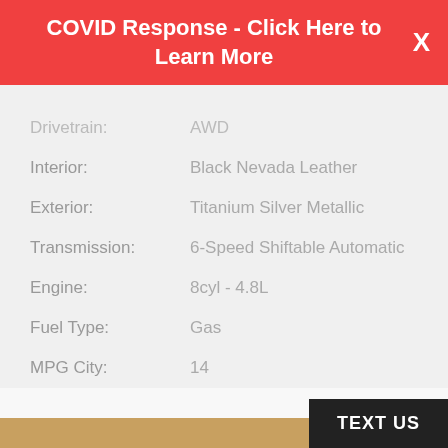COVID Response - Click Here to Learn More  X
Drivetrain:    AWD
Interior:      Black Nevada Leather
Exterior:      Titanium Silver Metallic
Transmission:  6-Speed Shiftable Automatic
Engine:        8cyl - 4.8L
Fuel Type:     Gas
MPG City:      14
MPG Highway:   19
TEXT US